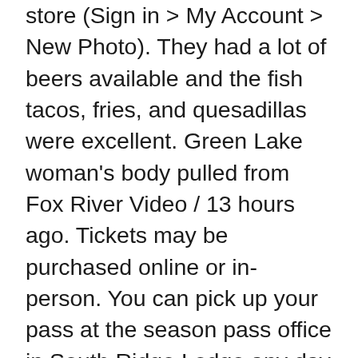store (Sign in > My Account > New Photo). They had a lot of beers available and the fish tacos, fries, and quesadillas were excellent. Green Lake woman's body pulled from Fox River Video / 13 hours ago. Tickets may be purchased online or in-person. You can pick up your pass at the season pass office in South Ridge Lodge any day 30 minutes before lifts open until 4PM. The resort sees about 167 inches of snowfall a year and has an extensive snowmaking arsenal of over 2,000 guns. Sale. 4 more touchdown passes on Sunday gave Aaron Rodgers a franchise-record 48 for the season. Hotels near Sunday River Ski Resort, Bethel on Tripadvisor: Find 9,839 traveler reviews, 1,984 candid